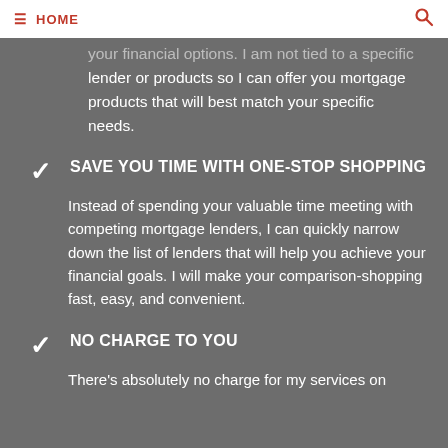HOME
your financial options. I am not tied to a specific lender or products so I can offer you mortgage products that will best match your specific needs.
SAVE YOU TIME WITH ONE-STOP SHOPPING
Instead of spending your valuable time meeting with competing mortgage lenders, I can quickly narrow down the list of lenders that will help you achieve your financial goals. I will make your comparison-shopping fast, easy, and convenient.
NO CHARGE TO YOU
There's absolutely no charge for my services on